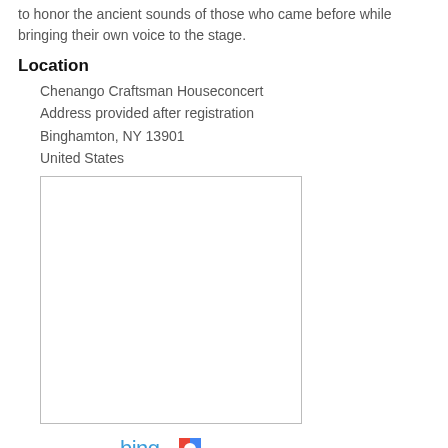to honor the ancient sounds of those who came before while bringing their own voice to the stage.
Location
Chenango Craftsman Houseconcert
Address provided after registration
Binghamton, NY 13901
United States
[Figure (map): Blank map placeholder box with border]
[Figure (other): Bing and Google Maps links/icons]
Dates